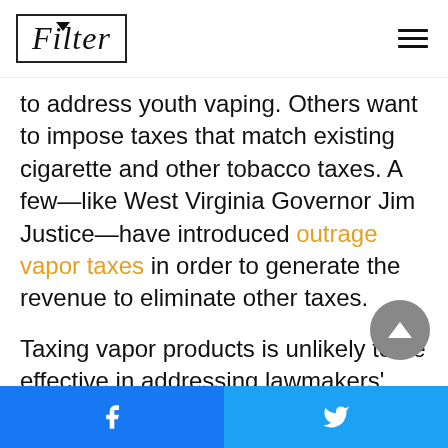Filter
to address youth vaping. Others want to impose taxes that match existing cigarette and other tobacco taxes. A few—like West Virginia Governor Jim Justice—have introduced outrage vapor taxes in order to generate the revenue to eliminate other taxes.
Taxing vapor products is unlikely to be effective in addressing lawmakers' concerns. Data from the Centers for Disease Control and Prevention (CDC)
Facebook share | Twitter share